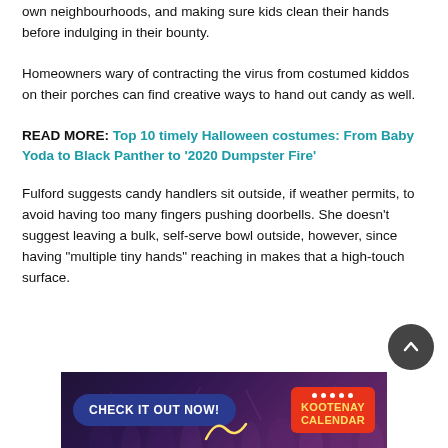own neighbourhoods, and making sure kids clean their hands before indulging in their bounty.
Homeowners wary of contracting the virus from costumed kiddos on their porches can find creative ways to hand out candy as well.
READ MORE: Top 10 timely Halloween costumes: From Baby Yoda to Black Panther to ‘2020 Dumpster Fire’
Fulford suggests candy handlers sit outside, if weather permits, to avoid having too many fingers pushing doorbells. She doesn’t suggest leaving a bulk, self-serve bowl outside, however, since having “multiple tiny hands” reaching in makes that a high-touch surface.
[Figure (screenshot): Advertisement banner for Kootenay Calendar with dark crowd background, 'CHECK IT OUT NOW!' button and red calendar badge]